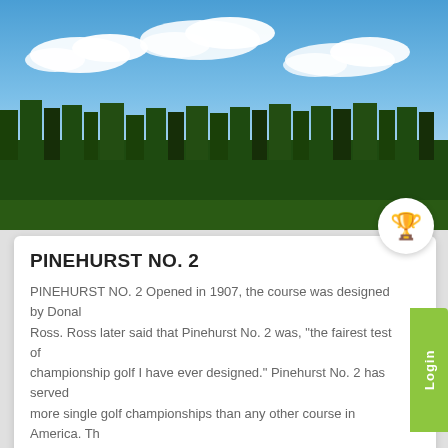[Figure (photo): Aerial/panoramic view of a golf course with blue sky and white clouds, green trees in background]
PINEHURST NO. 2
PINEHURST NO. 2 Opened in 1907, the course was designed by Donald Ross. Ross later said that Pinehurst No. 2 was, "the fairest test of championship golf I have ever designed." Pinehurst No. 2 has served more single golf championships than any other course in America. The course is known for its crowned, undulating greens. …
READ MOREContinue reading
[Figure (photo): Golf course landscape with green fairways, autumn-colored trees, and blue sky]